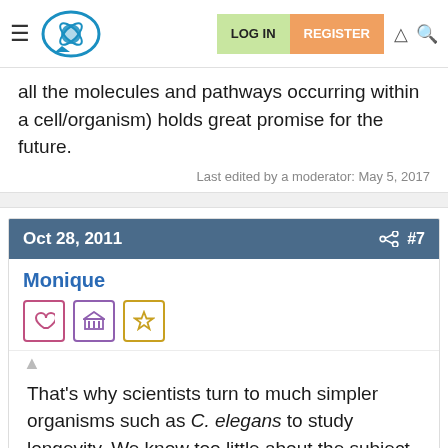LOG IN  REGISTER
all the molecules and pathways occurring within a cell/organism) holds great promise for the future.
Last edited by a moderator:  May 5, 2017
Oct 28, 2011   #7
Monique
That's why scientists turn to much simpler organisms such as C. elegans to study longevity. We know too little about the subject (although I would say big progress has been